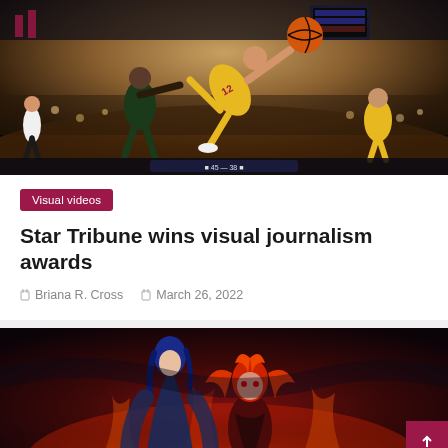[Figure (photo): Basketball game action photo: player in yellow jersey #12 diving/reaching for ball while defenders in dark green jerseys compete; arena crowd in background]
Visual videos
Star Tribune wins visual journalism awards
Briana R. Cross   March 26, 2022
[Figure (photo): Anime artwork showing two characters: one with dark blue hair in blue cloak and one with red hair, against a dark red fiery background]